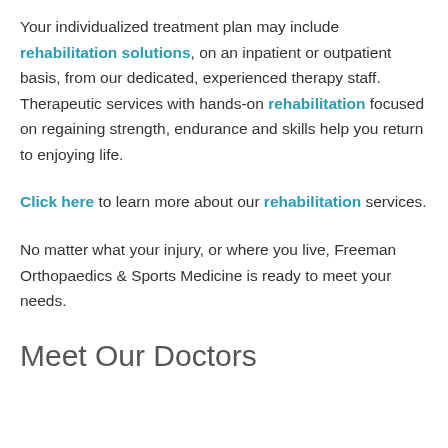Your individualized treatment plan may include rehabilitation solutions, on an inpatient or outpatient basis, from our dedicated, experienced therapy staff. Therapeutic services with hands-on rehabilitation focused on regaining strength, endurance and skills help you return to enjoying life.
Click here to learn more about our rehabilitation services.
No matter what your injury, or where you live, Freeman Orthopaedics & Sports Medicine is ready to meet your needs.
Meet Our Doctors